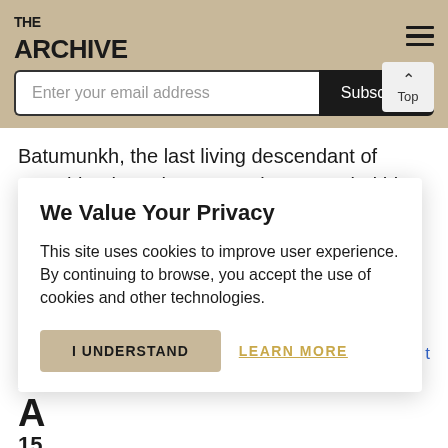THE ARCHIVE
Enter your email address
Subscribe
Batumunkh, the last living descendant of Genghis Khan, then, years later, married him. This gave her stronger control over the Onguds, allowing her to defeat other Mongol groups and bring all the tribes back together under one ruler.
We Value Your Privacy
This site uses cookies to improve user experience. By continuing to browse, you accept the use of cookies and other technologies.
I UNDERSTAND
LEARN MORE